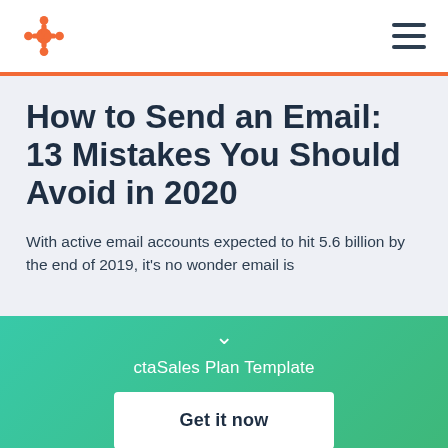HubSpot logo and navigation menu
How to Send an Email: 13 Mistakes You Should Avoid in 2020
With active email accounts expected to hit 5.6 billion by the end of 2019, it's no wonder email is
ctaSales Plan Template
Get it now